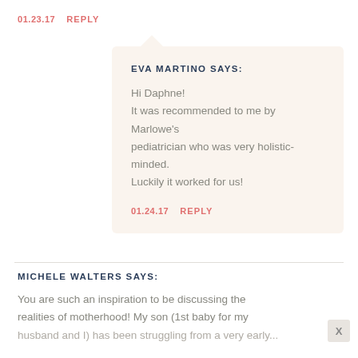01.23.17   REPLY
EVA MARTINO SAYS:
Hi Daphne!
It was recommended to me by Marlowe's pediatrician who was very holistic-minded. Luckily it worked for us!
01.24.17   REPLY
MICHELE WALTERS SAYS:
You are such an inspiration to be discussing the realities of motherhood! My son (1st baby for my